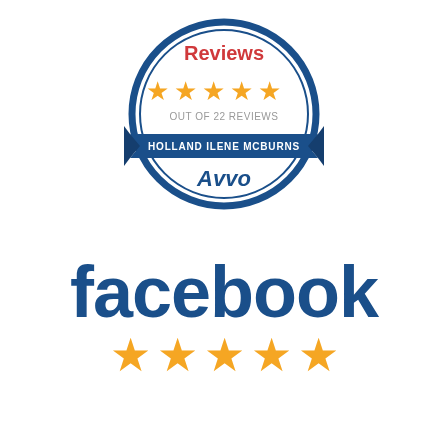[Figure (logo): Avvo Reviews badge: circular badge with dark blue border, 'Reviews' in red text at top, 5 orange stars, 'OUT OF 22 REVIEWS' in gray text, dark blue ribbon banner with 'HOLLAND ILENE MCBURNS' in white text, and 'Avvo' in dark blue italic text at bottom of circle.]
[Figure (logo): Facebook logo text in bold dark blue, followed by 5 gold stars beneath it.]